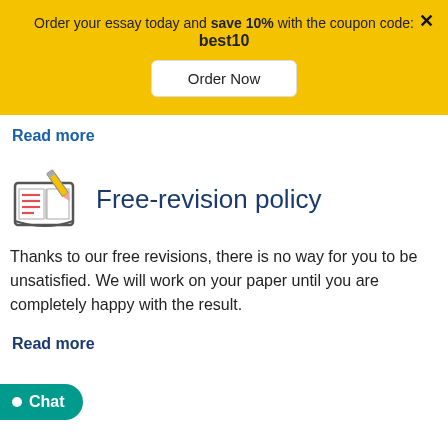Order your essay today and save 10% with the coupon code: best10
Order Now
Read more
Free-revision policy
Thanks to our free revisions, there is no way for you to be unsatisfied. We will work on your paper until you are completely happy with the result.
Read more
Chat